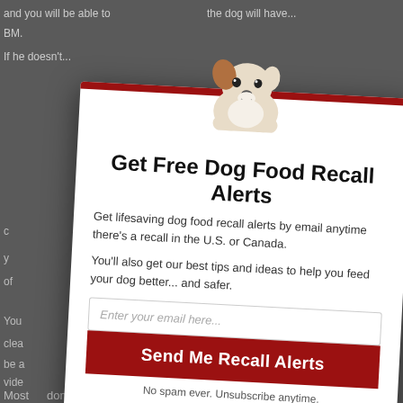and you will be able to... the dog will have... BM.
If he doesn't...
[Figure (photo): A small Jack Russell terrier puppy peeking over a white surface, head and paws visible, on a dark blurred background.]
Get Free Dog Food Recall Alerts
Get lifesaving dog food recall alerts by email anytime there's a recall in the U.S. or Canada.
You'll also get our best tips and ideas to help you feed your dog better... and safer.
Enter your email here...
Send Me Recall Alerts
No spam ever. Unsubscribe anytime.
Most... don't drink enough water anyway, so I would